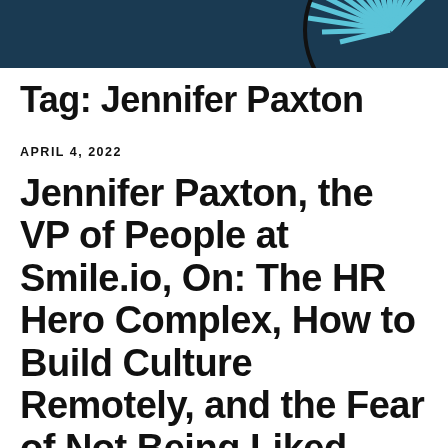[Figure (illustration): Dark navy blue banner header with a partial circular graphic made of light blue diagonal lines on the right side, resembling a stylized fan or wheel logo]
Tag: Jennifer Paxton
APRIL 4, 2022
Jennifer Paxton, the VP of People at Smile.io, On: The HR Hero Complex, How to Build Culture Remotely, and the Fear of Not Being Liked